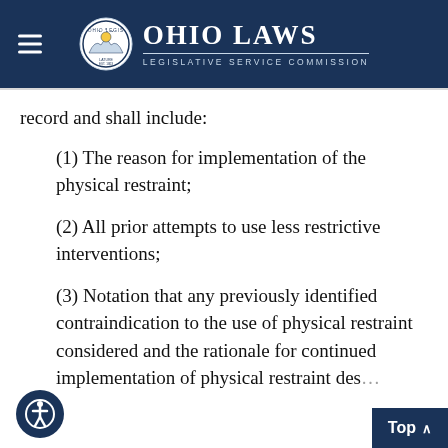Ohio Laws — Legislative Service Commission
record and shall include:
(1) The reason for implementation of the physical restraint;
(2) All prior attempts to use less restrictive interventions;
(3) Notation that any previously identified contraindication to the use of physical restraint considered and the rationale for continued implementation of physical restraint des